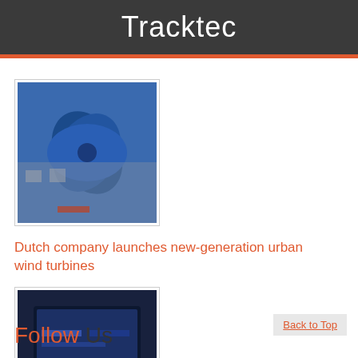Tracktec
[Figure (photo): Blue wind turbine sculpture or urban wind turbine installation against a building wall]
Dutch company launches new-generation urban wind turbines
[Figure (photo): Dark room with a large display screen showing the Steam Box prototype gaming console setup]
Steam Box: Valve announces it's relaunching the PC
Back to Top
Follow Us